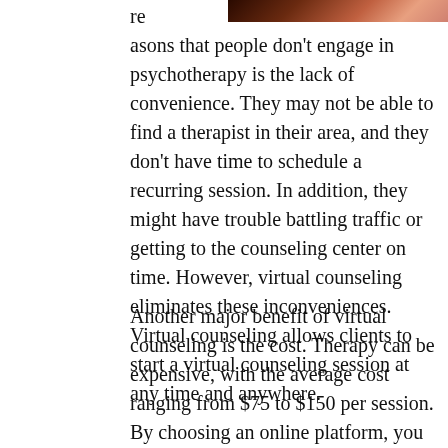[Figure (photo): Partial photo of a person visible at the top right of the page, showing skin tones and dark background.]
re asons that people don't engage in psychotherapy is the lack of convenience. They may not be able to find a therapist in their area, and they don't have time to schedule a recurring session. In addition, they might have trouble battling traffic or getting to the counseling center on time. However, virtual counseling eliminates these inconveniences. Virtual counseling allows clients to start a virtual counseling session at any time and anywhere.
Another major benefit of virtual counseling is the cost. Therapy can be expensive, with the average cost ranging from $75 to $150 per session. By choosing an online platform, you can keep costs down while still getting the same quality of service. In addition to saving money, many of the online platforms allow users to subscribe to